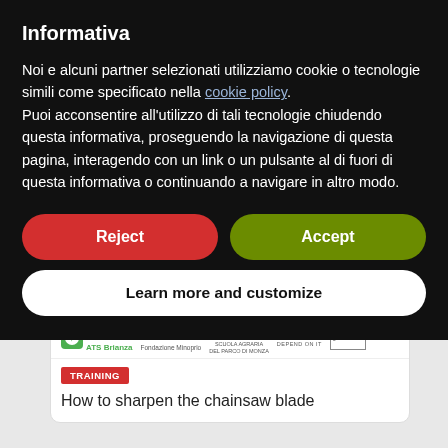Informativa
Noi e alcuni partner selezionati utilizziamo cookie o tecnologie simili come specificato nella cookie policy.
Puoi acconsentire all’utilizzo di tali tecnologie chiudendo questa informativa, proseguendo la navigazione di questa pagina, interagendo con un link o un pulsante al di fuori di questa informativa o continuando a navigare in altro modo.
Reject
Accept
Learn more and customize
[Figure (screenshot): Website content partially visible behind the cookie consent overlay, showing sponsor logos (Regione Lombardia ATS Brianza, Fondazione Minoprio, Scuola Agraria del Parco di Monza, ECHO Depend on it, gardenTV.it) and a TRAINING article card with title 'How to sharpen the chainsaw blade']